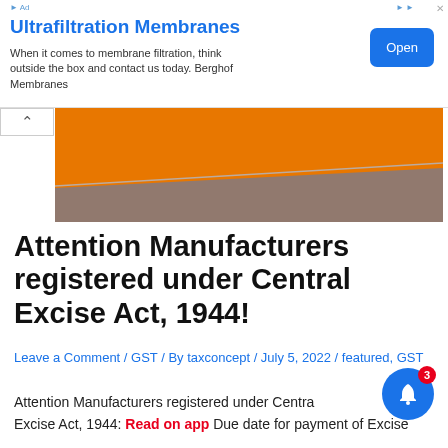[Figure (screenshot): Advertisement banner for Ultrafiltration Membranes by Berghof Membranes with an Open button]
[Figure (illustration): Orange and blue diagonal graphic banner, partially collapsed with chevron tab on the left]
Attention Manufacturers registered under Central Excise Act, 1944!
Leave a Comment / GST / By taxconcept / July 5, 2022 / featured, GST
Attention Manufacturers registered under Central Excise Act, 1944: Due date for payment of Excise